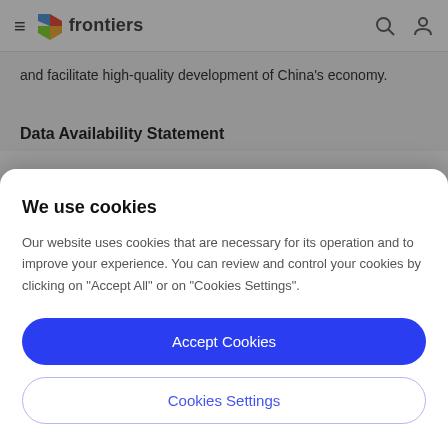frontiers
and facilitate high-quality development of China's economy.
Data Availability Statement
We use cookies
Our website uses cookies that are necessary for its operation and to improve your experience. You can review and control your cookies by clicking on "Accept All" or on "Cookies Settings".
Accept Cookies
Cookies Settings